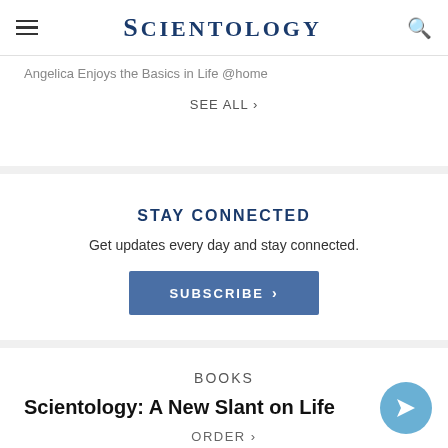SCIENTOLOGY
Angelica Enjoys the Basics in Life @home
SEE ALL >
STAY CONNECTED
Get updates every day and stay connected.
SUBSCRIBE >
BOOKS
Scientology: A New Slant on Life
ORDER >